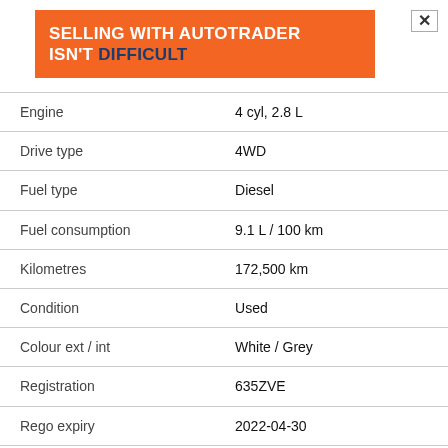[Figure (other): Orange Autotrader advertisement banner with white bold text reading 'SELLING WITH AUTOTRADER ISN'T DIFFICULT' where 'DIFFICULT' is in dark blue]
| Attribute | Value |
| --- | --- |
| Engine | 4 cyl, 2.8 L |
| Drive type | 4WD |
| Fuel type | Diesel |
| Fuel consumption | 9.1 L / 100 km |
| Kilometres | 172,500 km |
| Condition | Used |
| Colour ext / int | White / Grey |
| Registration | 635ZVE |
| Rego expiry | 2022-04-30 |
| VIN | - |
| Service history | Yes |